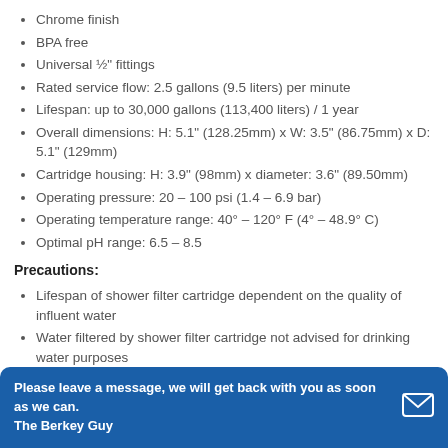Chrome finish
BPA free
Universal ½" fittings
Rated service flow: 2.5 gallons (9.5 liters) per minute
Lifespan: up to 30,000 gallons (113,400 liters) / 1 year
Overall dimensions: H: 5.1" (128.25mm) x W: 3.5" (86.75mm) x D: 5.1" (129mm)
Cartridge housing: H: 3.9" (98mm) x diameter: 3.6" (89.50mm)
Operating pressure: 20 – 100 psi (1.4 – 6.9 bar)
Operating temperature range: 40° – 120° F (4° – 48.9° C)
Optimal pH range: 6.5 – 8.5
Precautions:
Lifespan of shower filter cartridge dependent on the quality of influent water
Water filtered by shower filter cartridge not advised for drinking water purposes
Installation of shower filter must comply with state and local
Please leave a message, we will get back with you as soon as we can. The Berkey Guy